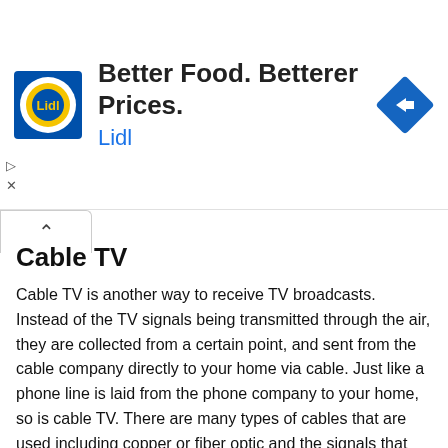[Figure (other): Advertisement banner for Lidl: 'Better Food. Betterer Prices. Lidl' with Lidl logo and blue navigation arrow icon]
Cable TV
Cable TV is another way to receive TV broadcasts. Instead of the TV signals being transmitted through the air, they are collected from a certain point, and sent from the cable company directly to your home via cable. Just like a phone line is laid from the phone company to your home, so is cable TV. There are many types of cables that are used including copper or fiber optic and the signals that the cable company sends to your home usually are encoded and or compressed. Most homes require technology to unscramble and decompress the signal to view the TV signal on their TV set.
TV Technology Elements
There are many parts to a TV set that allow you to view video images and reproduce audio signals; they include